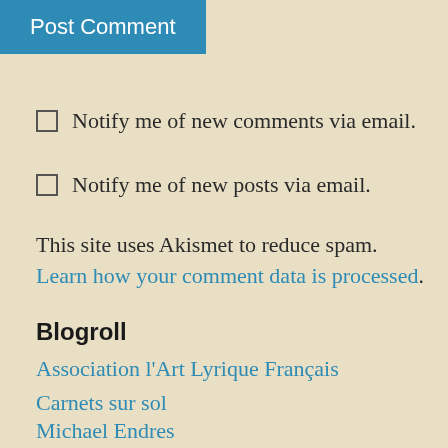[Figure (other): Blue 'Post Comment' button]
Notify me of new comments via email.
Notify me of new posts via email.
This site uses Akismet to reduce spam. Learn how your comment data is processed.
Blogroll
Association l'Art Lyrique Français
Carnets sur sol
Michael Endres
Opera Today